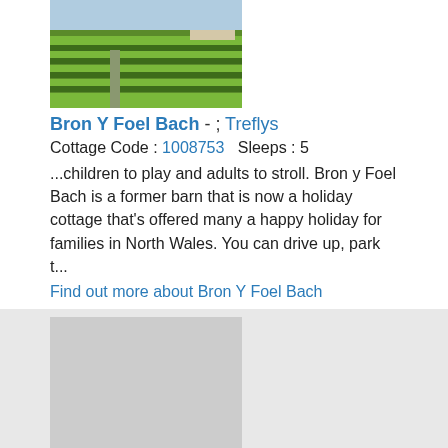[Figure (photo): Aerial or landscape photo of green terraced gardens/hedges at Bron Y Foel Bach property]
Bron Y Foel Bach - ; Treflys
Cottage Code : 1008753   Sleeps : 5
...children to play and adults to stroll. Bron y Foel Bach is a former barn that is now a holiday cottage that's offered many a happy holiday for families in North Wales. You can drive up, park t...
Find out more about Bron Y Foel Bach
[Figure (photo): Placeholder/blurred image for Bryn Coed property]
Bryn Coed - ; Porthmadog
Cottage Code : 1066566   Sleeps : 5
...slate caverns, or take to the heights of the Zip World Titan, an exhilarating experience as you soar through the sky at speeds of up to 70mph! Should you fancy a day of sunbathing, there ar...